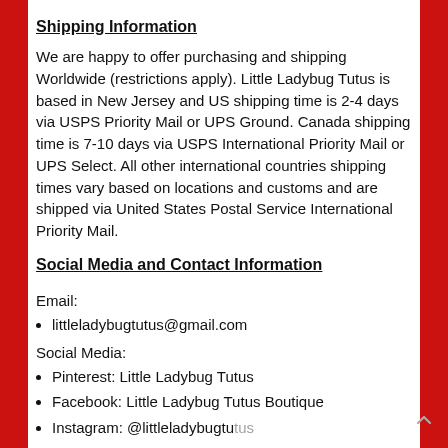Shipping Information
We are happy to offer purchasing and shipping Worldwide (restrictions apply). Little Ladybug Tutus is based in New Jersey and US shipping time is 2-4 days via USPS Priority Mail or UPS Ground. Canada shipping time is 7-10 days via USPS International Priority Mail or UPS Select. All other international countries shipping times vary based on locations and customs and are shipped via United States Postal Service International Priority Mail.
Social Media and Contact Information
Email:
littleladybugtutus@gmail.com
Social Media:
Pinterest: Little Ladybug Tutus
Facebook: Little Ladybug Tutus Boutique
Instagram: @littleladybugtutus